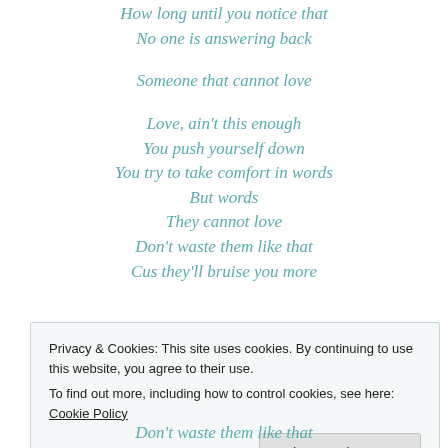How long until you notice that
No one is answering back
Someone that cannot love
Love, ain't this enough
You push yourself down
You try to take comfort in words
But words
They cannot love
Don't waste them like that
Cus they'll bruise you more
Privacy & Cookies: This site uses cookies. By continuing to use this website, you agree to their use.
To find out more, including how to control cookies, see here: Cookie Policy
Don't waste them like that